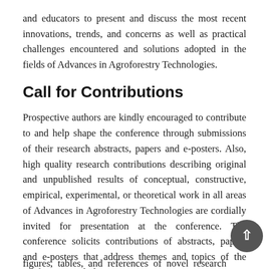and educators to present and discuss the most recent innovations, trends, and concerns as well as practical challenges encountered and solutions adopted in the fields of Advances in Agroforestry Technologies.
Call for Contributions
Prospective authors are kindly encouraged to contribute to and help shape the conference through submissions of their research abstracts, papers and e-posters. Also, high quality research contributions describing original and unpublished results of conceptual, constructive, empirical, experimental, or theoretical work in all areas of Advances in Agroforestry Technologies are cordially invited for presentation at the conference. The conference solicits contributions of abstracts, papers and e-posters that address themes and topics of the conference, including figures, tables, and references of novel research